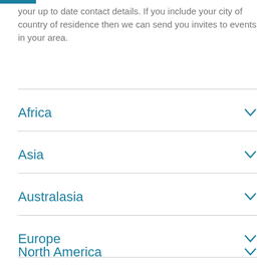your up to date contact details. If you include your city of country of residence then we can send you invites to events in your area.
Africa
Asia
Australasia
Europe
North America